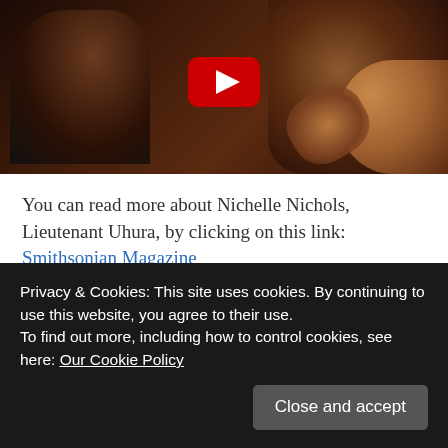[Figure (screenshot): YouTube video thumbnail showing two people kissing, with a red YouTube play button overlay in the center]
You can read more about Nichelle Nichols, Lieutenant Uhura, by clicking on this link: Smithsonian Magazine
SHARE THIS:
Twitter  Facebook  LinkedIn
Privacy & Cookies: This site uses cookies. By continuing to use this website, you agree to their use.
To find out more, including how to control cookies, see here: Our Cookie Policy
Close and accept